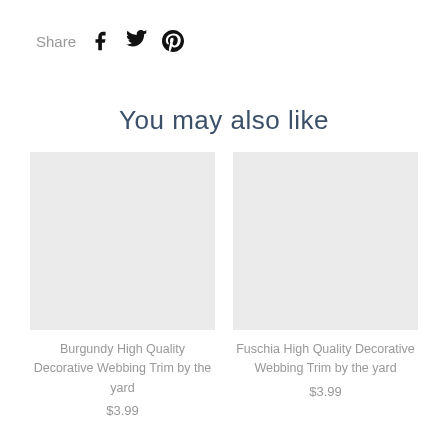Share
You may also like
[Figure (photo): Placeholder image for Burgundy High Quality Decorative Webbing Trim product]
Burgundy High Quality Decorative Webbing Trim by the yard
$3.99
[Figure (photo): Placeholder image for Fuschia High Quality Decorative Webbing Trim product]
Fuschia High Quality Decorative Webbing Trim by the yard
$3.99